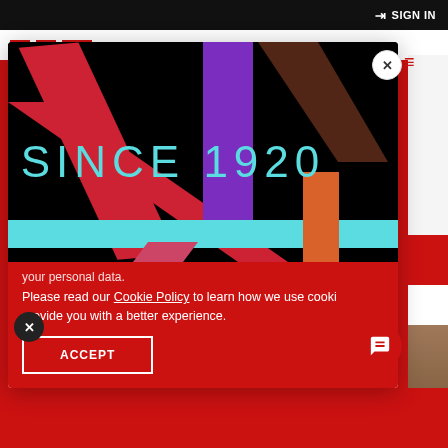SIGN IN
[Figure (screenshot): A video frame showing geometric colored shapes (red, purple, brown, cyan, orange) on a black background with text 'SINCE 1920' in teal/cyan lettering]
your personal data.
Please read our Cookie Policy to learn how we use cooki provide you with a better experience.
ACCEPT